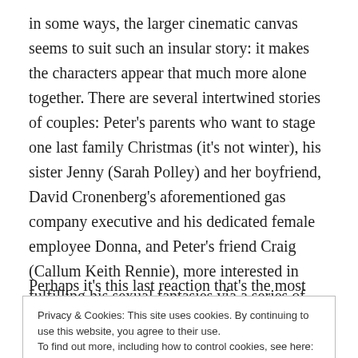in some ways, the larger cinematic canvas seems to suit such an insular story: it makes the characters appear that much more alone together. There are several intertwined stories of couples: Peter's parents who want to stage one last family Christmas (it's not winter), his sister Jenny (Sarah Polley) and her boyfriend, David Cronenberg's aforementioned gas company executive and his dedicated female employee Donna, and Peter's friend Craig (Callum Keith Rennie), more interested in fulfilling his sexual fantasies via a series of transitory hook-ups.
Perhaps it's this last reaction that's the most explicable given
Privacy & Cookies: This site uses cookies. By continuing to use this website, you agree to their use.
To find out more, including how to control cookies, see here: Cookie Policy
Close and accept
people. Maybe this then is what's most Canadian: an unflinching